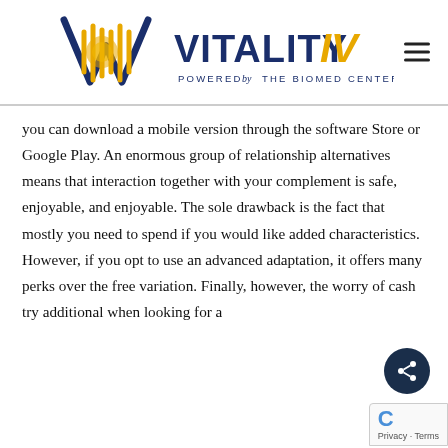[Figure (logo): Vitality IV logo with DNA helix graphic in blue and gold, text reading VITALITY IV POWERED BY THE BIOMED CENTER, and a hamburger menu icon on the right]
you can download a mobile version through the software Store or Google Play. An enormous group of relationship alternatives means that interaction together with your complement is safe, enjoyable, and enjoyable. The sole drawback is the fact that mostly you need to spend if you would like added characteristics. However, if you opt to use an advanced adaptation, it offers many perks over the free variation. Finally, however, the worry of cash try additional when looking for a